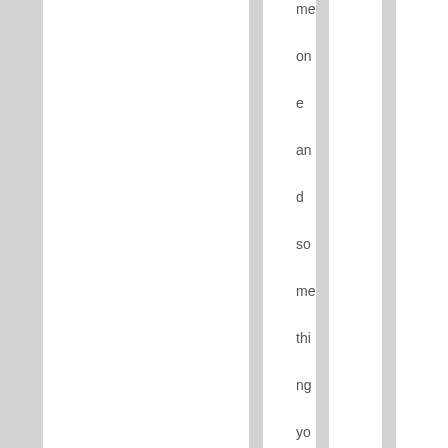me one and something you know nothing about. I don't ev